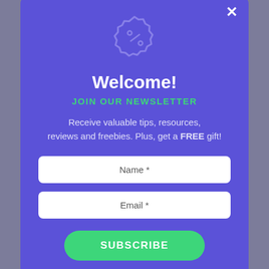never thought of that before!
[Figure (illustration): Badge/discount icon outline in light purple]
Welcome!
JOIN OUR NEWSLETTER
Receive valuable tips, resources, reviews and freebies. Plus, get a FREE gift!
Name *
Email *
SUBSCRIBE